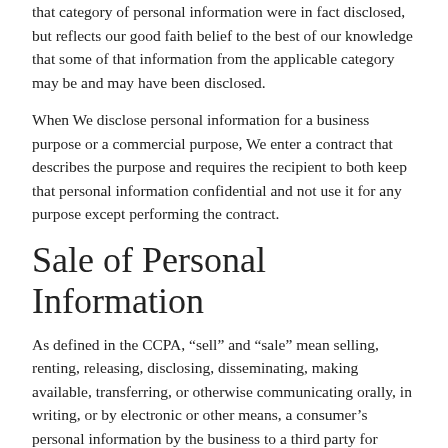that category of personal information were in fact disclosed, but reflects our good faith belief to the best of our knowledge that some of that information from the applicable category may be and may have been disclosed.
When We disclose personal information for a business purpose or a commercial purpose, We enter a contract that describes the purpose and requires the recipient to both keep that personal information confidential and not use it for any purpose except performing the contract.
Sale of Personal Information
As defined in the CCPA, “sell” and “sale” mean selling, renting, releasing, disclosing, disseminating, making available, transferring, or otherwise communicating orally, in writing, or by electronic or other means, a consumer’s personal information by the business to a third party for valuable consideration. This means that We may have received some kind of benefit in return for sharing personal